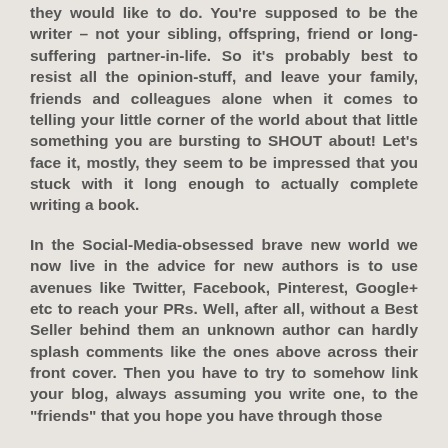they would like to do. You're supposed to be the writer – not your sibling, offspring, friend or long-suffering partner-in-life. So it's probably best to resist all the opinion-stuff, and leave your family, friends and colleagues alone when it comes to telling your little corner of the world about that little something you are bursting to SHOUT about! Let's face it, mostly, they seem to be impressed that you stuck with it long enough to actually complete writing a book.
In the Social-Media-obsessed brave new world we now live in the advice for new authors is to use avenues like Twitter, Facebook, Pinterest, Google+ etc to reach your PRs. Well, after all, without a Best Seller behind them an unknown author can hardly splash comments like the ones above across their front cover. Then you have to try to somehow link your blog, always assuming you write one, to the "friends" that you hope you have through those